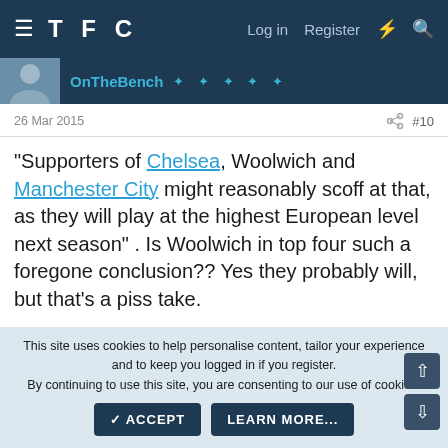TFC   Log in   Register
OnTheBench
26 Mar 2015   #10
"Supporters of Chelsea, Woolwich and Manchester City might reasonably scoff at that, as they will play at the highest European level next season" . Is Woolwich in top four such a foregone conclusion?? Yes they probably will, but that's a piss take.
× 1
This site uses cookies to help personalise content, tailor your experience and to keep you logged in if you register.
By continuing to use this site, you are consenting to our use of cookies.
ACCEPT   LEARN MORE...